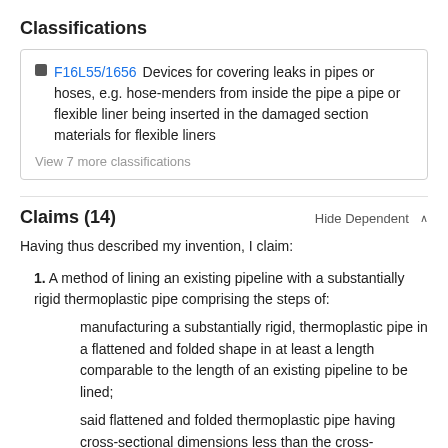Classifications
F16L55/1656  Devices for covering leaks in pipes or hoses, e.g. hose-menders from inside the pipe a pipe or flexible liner being inserted in the damaged section materials for flexible liners
View 7 more classifications
Claims (14)
Hide Dependent ^
Having thus described my invention, I claim:
1. A method of lining an existing pipeline with a substantially rigid thermoplastic pipe comprising the steps of:
manufacturing a substantially rigid, thermoplastic pipe in a flattened and folded shape in at least a length comparable to the length of an existing pipeline to be lined;
said flattened and folded thermoplastic pipe having cross-sectional dimensions less than the cross-sectional dimensions of the lumen of the existing pipeline to be lined to